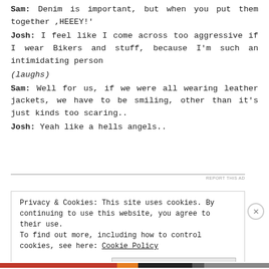Sam: Denim is important, but when you put them together ,HEEEY!'
Josh: I feel like I come across too aggressive if I wear Bikers and stuff, because I'm such an intimidating person (laughs)
Sam: Well for us, if we were all wearing leather jackets, we have to be smiling, other than it's just kinds too scaring..
Josh: Yeah like a hells angels..
Privacy & Cookies: This site uses cookies. By continuing to use this website, you agree to their use. To find out more, including how to control cookies, see here: Cookie Policy